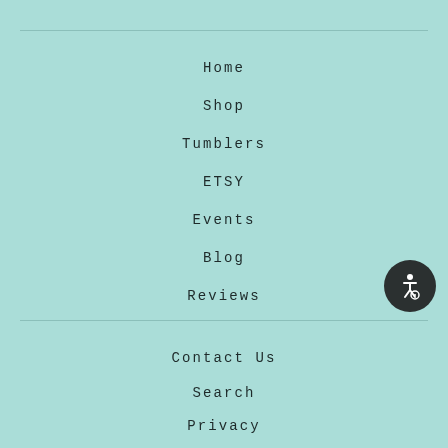Home
Shop
Tumblers
ETSY
Events
Blog
Reviews
Contact Us
Search
Privacy
Refund Policy